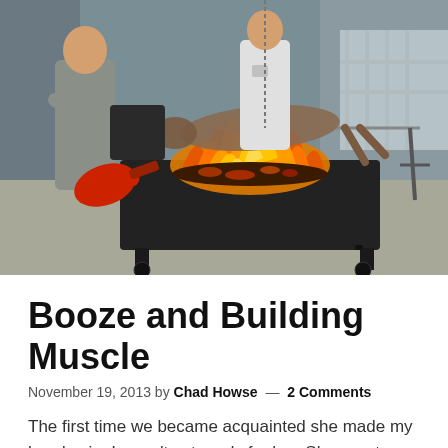[Figure (photo): Outdoor pig roast scene with a whole animal on a spit over a large grill with flames, a man in grey shirt tending it, another person in white t-shirt in background, and a red propane blower/torch at left.]
Booze and Building Muscle
November 19, 2013 by Chad Howse — 2 Comments
The first time we became acquainted she made my head spin. I wasn't yet ready for her. She was too strong for me.